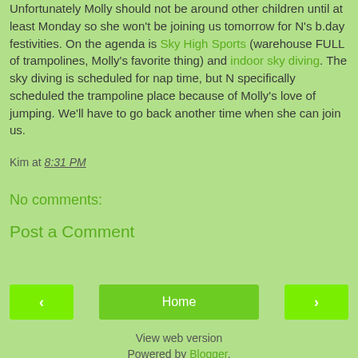Unfortunately Molly should not be around other children until at least Monday so she won't be joining us tomorrow for N's b.day festivities. On the agenda is Sky High Sports (warehouse FULL of trampolines, Molly's favorite thing) and indoor sky diving. The sky diving is scheduled for nap time, but N specifically scheduled the trampoline place because of Molly's love of jumping. We'll have to go back another time when she can join us.
Kim at 8:31 PM
No comments:
Post a Comment
◄  Home  ►
View web version
Powered by Blogger.